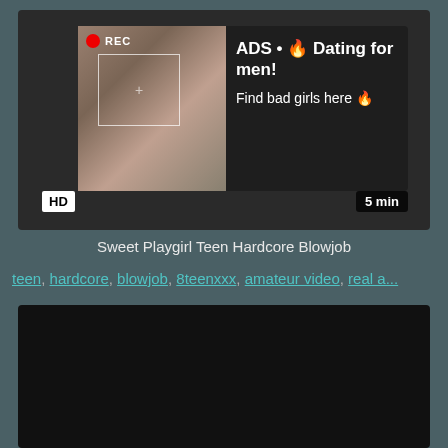[Figure (screenshot): Video thumbnail with ad overlay showing a selfie photo with REC indicator, focus box overlay, and text 'ADS • 🔥 Dating for men! Find bad girls here 🔥'. HD badge bottom-left, 5 min duration badge bottom-right.]
Sweet Playgirl Teen Hardcore Blowjob
teen, hardcore, blowjob, 8teenxxx, amateur video, real a...
[Figure (screenshot): Dark/black video player area below the tags]